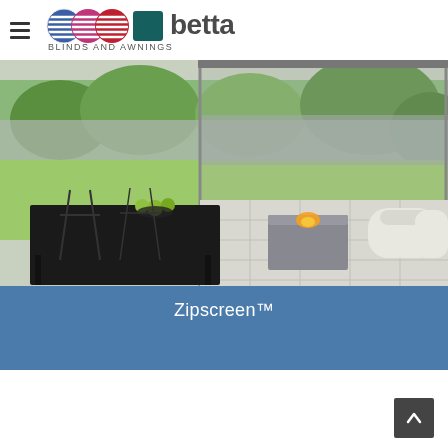betta BLINDS AND AWNINGS
[Figure (photo): Outdoor patio scene showing a black dining table with green apples, wire chairs, and a modern white lounge area with a fire pit, viewed through a Zipscreen transparent blind with a green garden in the background]
Zipscreen™